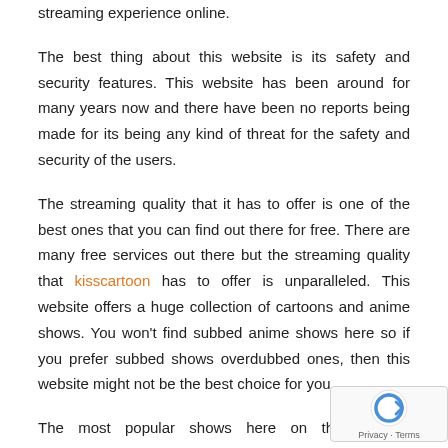streaming experience online.
The best thing about this website is its safety and security features. This website has been around for many years now and there have been no reports being made for its being any kind of threat for the safety and security of the users.
The streaming quality that it has to offer is one of the best ones that you can find out there for free. There are many free services out there but the streaming quality that kisscartoon has to offer is unparalleled. This website offers a huge collection of cartoons and anime shows. You won't find subbed anime shows here so if you prefer subbed shows overdubbed ones, then this website might not be the best choice for you.
The most popular shows here on this website are Piece, Naruto, Ben 10, and Teen Titans Go. You can also